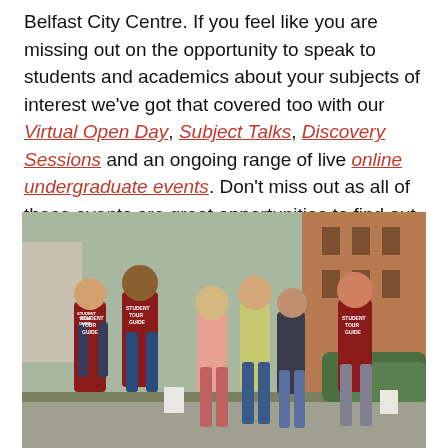Belfast City Centre. If you feel like you are missing out on the opportunity to speak to students and academics about your subjects of interest we've got that covered too with our Virtual Open Day, Subject Talks, Discovery Sessions and an ongoing range of live online undergraduate events. Don't miss out as all of these events are great opportunities to find out a bit more about Queen's and your chosen courses!
[Figure (photo): Students in red 'Student Tour Guide' vests leading a group of visitors on a campus tour outside a brick building.]